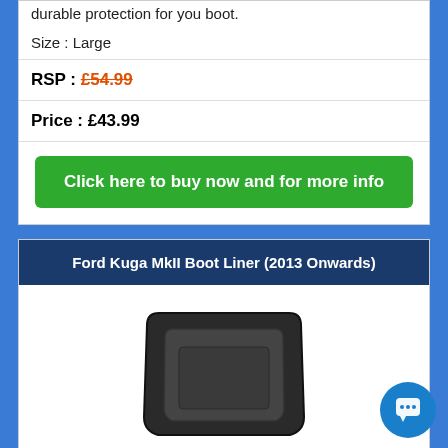durable protection for you boot.
Size : Large
RSP :  £54.99
Price :  £43.99
Click here to buy now and for more info
Ford Kuga MkII Boot Liner (2013 Onwards)
[Figure (photo): Black moulded boot liner tray for Ford Kuga MkII, viewed from above at a slight angle, showing raised edges and central recessed area.]
Our Ford Kuga MkII 02/2013 onwards Boot Li... a fully tailored product. The boot liner is mould... the exact shape of the boot and is guaranteed to fit snugly into your boot space.